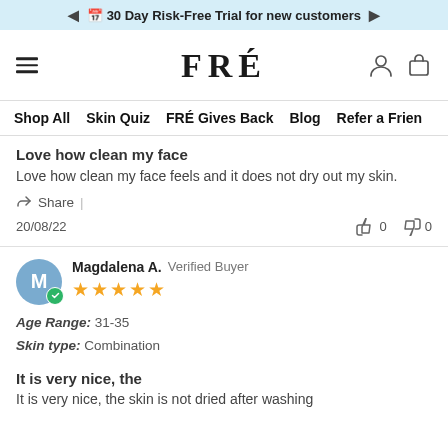◄ 📅 30 Day Risk-Free Trial for new customers ►
[Figure (logo): FRÉ skincare brand logo with hamburger menu, user icon, and shopping bag icon]
Shop All  Skin Quiz  FRÉ Gives Back  Blog  Refer a Friend
Love how clean my face
Love how clean my face feels and it does not dry out my skin.
Share |
20/08/22  👍 0  👎 0
Magdalena A. Verified Buyer — Age Range: 31-35 — Skin type: Combination — ★★★★★
It is very nice, the
It is very nice, the skin is not dried after washing